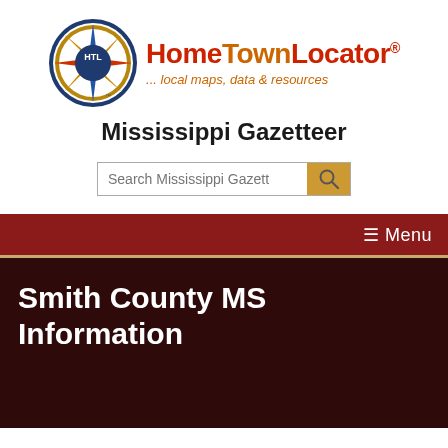[Figure (logo): HomeTownLocator logo with HTL compass rose circle and brand name text]
Mississippi Gazetteer
Search Mississippi Gazett [search button]
☰ Menu
Smith County MS Information